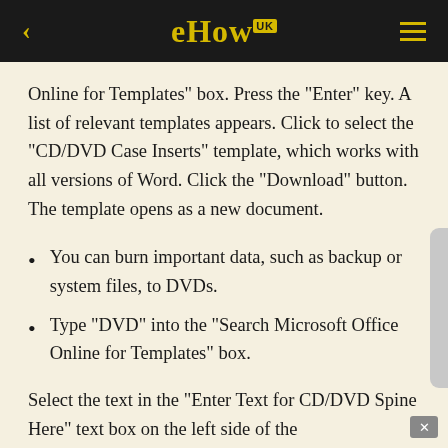eHow UK
Online for Templates" box. Press the "Enter" key. A list of relevant templates appears. Click to select the "CD/DVD Case Inserts" template, which works with all versions of Word. Click the "Download" button. The template opens as a new document.
You can burn important data, such as backup or system files, to DVDs.
Type "DVD" into the "Search Microsoft Office Online for Templates" box.
Select the text in the "Enter Text for CD/DVD Spine Here" text box on the left side of the